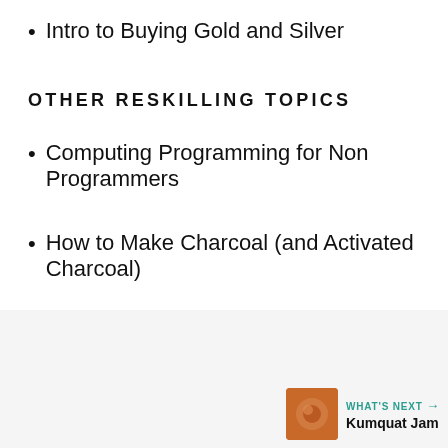Intro to Buying Gold and Silver
OTHER RESKILLING TOPICS
Computing Programming for Non Programmers
How to Make Charcoal (and Activated Charcoal)
[Figure (other): Share button and 'What's Next' navigation widget showing Kumquat Jam]